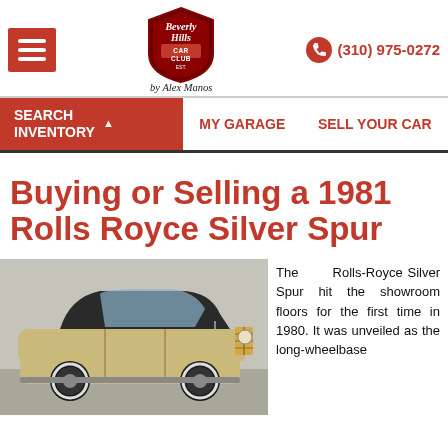[Figure (logo): Beverly Hills Car Club logo shield with script 'by Alex Manos' below]
(310) 975-0272
SEARCH INVENTORY
MY GARAGE
SELL YOUR CAR
Buying or Selling a 1981 Rolls Royce Silver Spur
[Figure (photo): 1981 Rolls Royce Silver Spur classic car, two-tone black and gold/tan, photographed in a showroom]
The Rolls-Royce Silver Spur hit the showroom floors for the first time in 1980. It was unveiled as the long-wheelbase